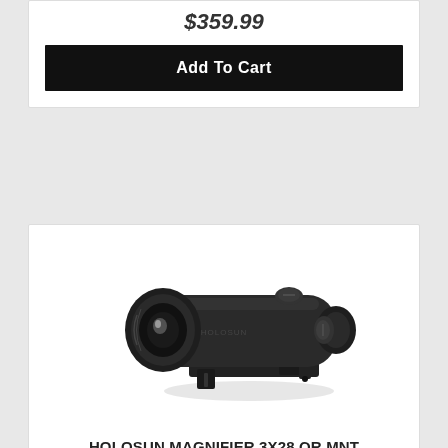$359.99
Add To Cart
[Figure (photo): Black Holosun magnifier 3x28 with QR mount, shown at an angle on a white background]
HOLOSUN MAGNIFIER 3X28 QR MNT BLK
Holosun
$199.99
Add To Cart